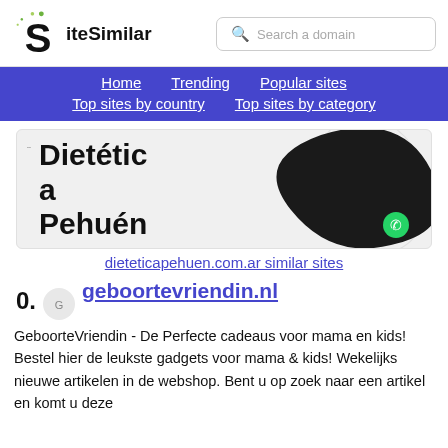SiteSimilar — Search a domain
Home | Trending | Popular sites | Top sites by country | Top sites by category
[Figure (screenshot): Banner image for dieteticapehuen.com.ar showing bold text 'Dietética Pehuén' with a dark blob shape on the right and a WhatsApp button]
dieteticapehuen.com.ar similar sites
geboortevriendin.nl
GeboorteVriendin - De Perfecte cadeaus voor mama en kids!
Bestel hier de leukste gadgets voor mama & kids! Wekelijks nieuwe artikelen in de webshop. Bent u op zoek naar een artikel en komt u deze